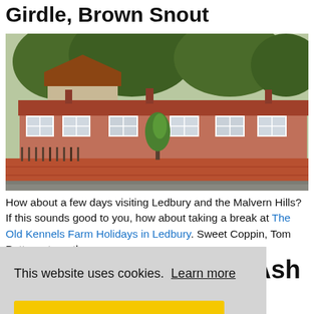Girdle, Brown Snout
[Figure (photo): Photograph of a row of red-brick terraced cottages with a taller beige rendered house behind, red tile roofing, white-framed windows, a low brick wall in front, and a small conical topiary tree in the centre, with large trees in the background.]
How about a few days visiting Ledbury and the Malvern Hills? If this sounds good to you, how about taking a break at The Old Kennels Farm Holidays in Ledbury. Sweet Coppin, Tom Putt, …ut are the
This website uses cookies. Learn more
Got it!
Hertford - Oak Barn, Ash Barn, Willow